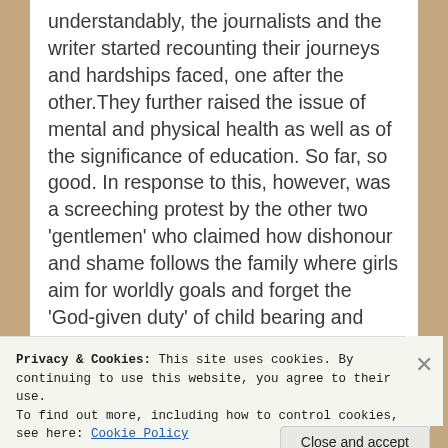understandably, the journalists and the writer started recounting their journeys and hardships faced, one after the other.They further raised the issue of mental and physical health as well as of the significance of education. So far, so good. In response to this, however, was a screeching protest by the other two 'gentlemen' who claimed how dishonour and shame follows the family where girls aim for worldly goals and forget the 'God-given duty' of child bearing and housekeeping!
Privacy & Cookies: This site uses cookies. By continuing to use this website, you agree to their use.
To find out more, including how to control cookies, see here: Cookie Policy